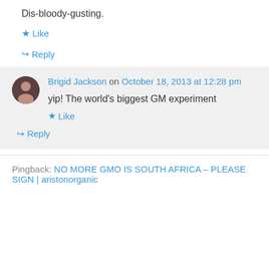Dis-bloody-gusting.
★ Like
↪ Reply
Brigid Jackson on October 18, 2013 at 12:28 pm
yip! The world's biggest GM experiment
★ Like
↪ Reply
Pingback: NO MORE GMO IS SOUTH AFRICA – PLEASE SIGN | aristonorganic